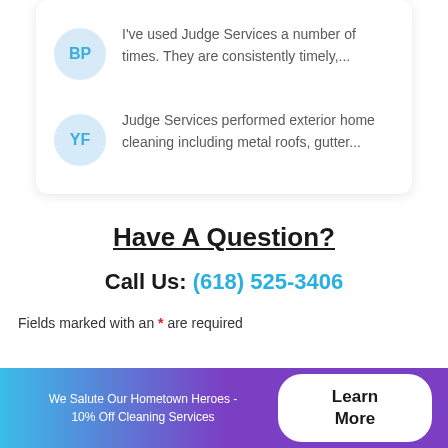BP — I've used Judge Services a number of times. They are consistently timely,...
YF — Judge Services performed exterior home cleaning including metal roofs, gutter...
Have A Question?
Call Us: (618) 525-3406
Fields marked with an * are required
We Salute Our Hometown Heroes - 10% Off Cleaning Services
Learn More